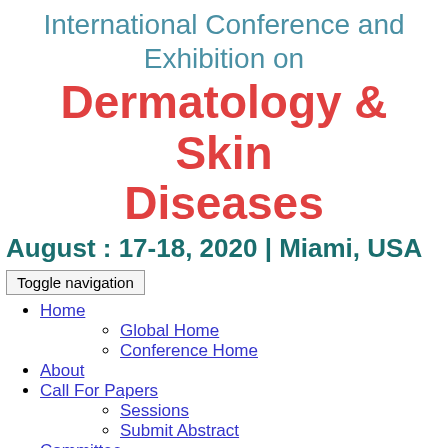International Conference and Exhibition on Dermatology & Skin Diseases August : 17-18, 2020 | Miami, USA
Home
Global Home
Conference Home
About
Call For Papers
Sessions
Submit Abstract
Committee
Speakers
Plenary Speakers
Keynote Speakers
Invited Speakers